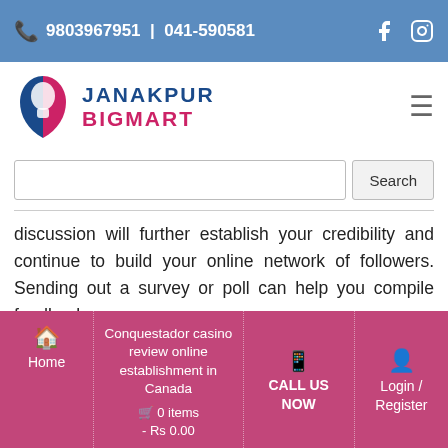📞 9803967951 | 041-590581
[Figure (logo): Janakpur Bigmart logo with stylized face icon and text JANAKPUR BIGMART]
Search bar with Search button
discussion will further establish your credibility and continue to build your online network of followers. Sending out a survey or poll can help you compile feedback on
Home | Conquestador casino review online establishment in Canada | 🛒 0 items - Rs 0.00 | 📱 CALL US NOW | Login / Register